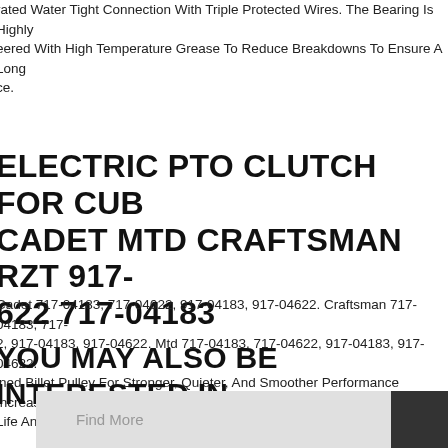rated Water Tight Connection With Triple Protected Wires. The Bearing Is Highly eered With High Temperature Grease To Reduce Breakdowns To Ensure A Long ce.
ELECTRIC PTO CLUTCH FOR CUB CADET MTD CRAFTSMAN RZT 917-622 717-04183
Cadet 717-04183, 717-04622, 917-04183, 917-04622. Craftsman 717-04183, 717- 2, 917-04183, 917-04622. Mtd 717-04183, 717-04622, 917-04183, 917-04622. ined Billet Pulley For Stronger, Quieter, And Smoother Performance Increasing Life And Maximizing Blade Speed.
2 Pto Clutch For Cub Cadet Tank Series M60-kw Lc. X0662 Pto Clutch For Cub t Tank Series M60-kw Lc.
YOU MAY ALSO BE INTERESTED IN
Find More